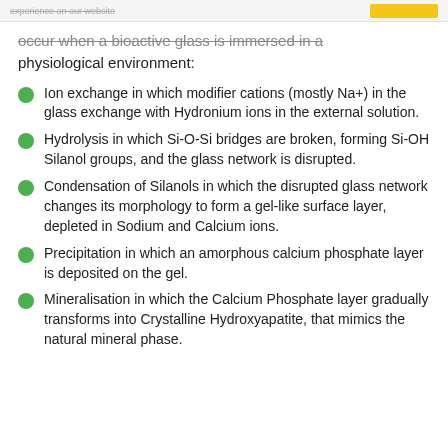experience on our website
occur when a bioactive glass is immersed in a physiological environment:
Ion exchange in which modifier cations (mostly Na+) in the glass exchange with Hydronium ions in the external solution.
Hydrolysis in which Si-O-Si bridges are broken, forming Si-OH Silanol groups, and the glass network is disrupted.
Condensation of Silanols in which the disrupted glass network changes its morphology to form a gel-like surface layer, depleted in Sodium and Calcium ions.
Precipitation in which an amorphous calcium phosphate layer is deposited on the gel.
Mineralisation in which the Calcium Phosphate layer gradually transforms into Crystalline Hydroxyapatite, that mimics the natural mineral phase.